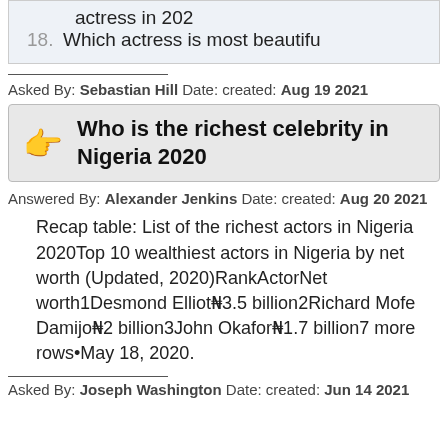actress in 202
18. Which actress is most beautifu
Asked By: Sebastian Hill Date: created: Aug 19 2021
Who is the richest celebrity in Nigeria 2020
Answered By: Alexander Jenkins Date: created: Aug 20 2021
Recap table: List of the richest actors in Nigeria 2020Top 10 wealthiest actors in Nigeria by net worth (Updated, 2020)RankActorNet worth1Desmond Elliot₦3.5 billion2Richard Mofe Damijo₦2 billion3John Okafor₦1.7 billion7 more rows•May 18, 2020.
Asked By: Joseph Washington Date: created: Jun 14 2021